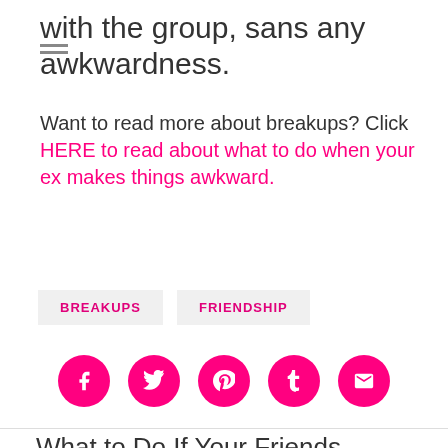with the group, sans any awkwardness.
Want to read more about breakups? Click HERE to read about what to do when your ex makes things awkward.
BREAKUPS
FRIENDSHIP
[Figure (infographic): Five pink circular social media share buttons: Facebook, Twitter, Pinterest, Tumblr, Email]
What to Do If Your Friends